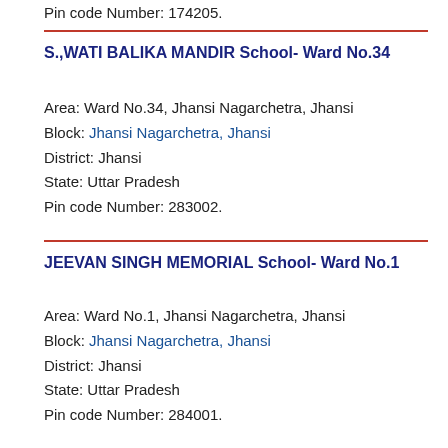Pin code Number: 174205.
S.,WATI BALIKA MANDIR School- Ward No.34
Area: Ward No.34, Jhansi Nagarchetra, Jhansi
Block: Jhansi Nagarchetra, Jhansi
District: Jhansi
State: Uttar Pradesh
Pin code Number: 283002.
JEEVAN SINGH MEMORIAL School- Ward No.1
Area: Ward No.1, Jhansi Nagarchetra, Jhansi
Block: Jhansi Nagarchetra, Jhansi
District: Jhansi
State: Uttar Pradesh
Pin code Number: 284001.